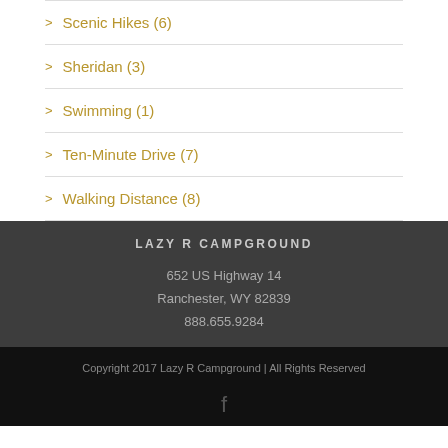Scenic Hikes (6)
Sheridan (3)
Swimming (1)
Ten-Minute Drive (7)
Walking Distance (8)
LAZY R CAMPGROUND
652 US Highway 14
Ranchester, WY 82839
888.655.9284
Copyright 2017 Lazy R Campground | All Rights Reserved